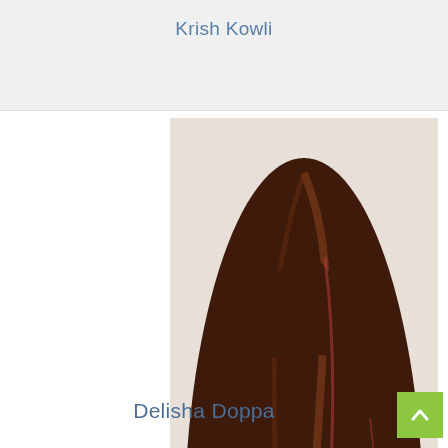Krish Kowli
[Figure (photo): Portrait photo of a young girl with long dark brown hair with reddish highlights, looking directly at camera, against a light background.]
Delisha Doppa